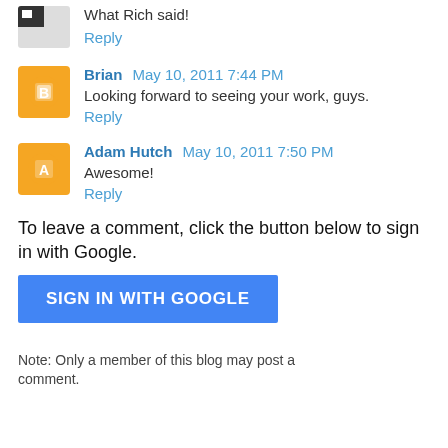What Rich said!
Reply
Brian May 10, 2011 7:44 PM
Looking forward to seeing your work, guys.
Reply
Adam Hutch May 10, 2011 7:50 PM
Awesome!
Reply
To leave a comment, click the button below to sign in with Google.
SIGN IN WITH GOOGLE
Note: Only a member of this blog may post a comment.